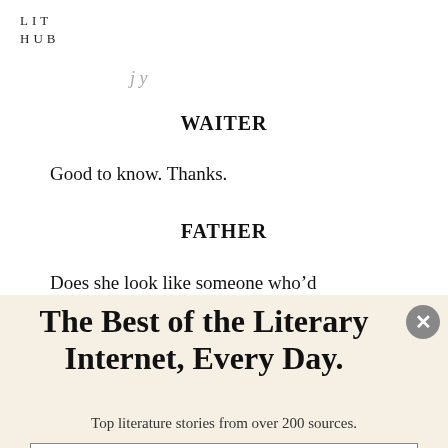LIT
HUB
WAITER
Good to know. Thanks.
FATHER
Does she look like someone who'd
The Best of the Literary Internet, Every Day.
Top literature stories from over 200 sources.
SUBSCRIBE